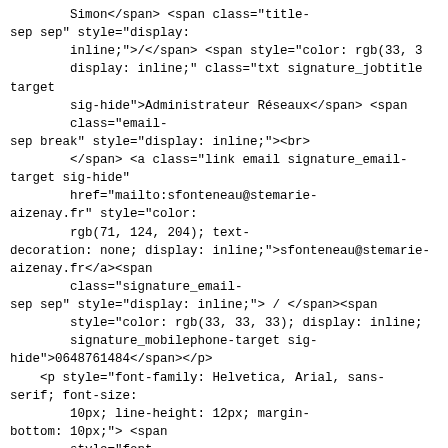Simon</span> <span class="title-sep sep" style="display: inline;">/<\/span> <span style="color: rgb(33, 3 display: inline;" class="txt signature_jobtitle target sig-hide">Administrateur Réseaux</span> <span class="email-sep break" style="display: inline;"><br>     </span> <a class="link email signature_email-target sig-hide" href="mailto:sfonteneau@stemarie-aizenay.fr" style="color: rgb(71, 124, 204); text-decoration: none; display: inline;">sfonteneau@stemarie-aizenay.fr</a><span class="signature_email-sep sep" style="display: inline;"> / </span><span style="color: rgb(33, 33, 33); display: inline; signature_mobilephone-target sig-hide">0648761484</span></p>     <p style="font-family: Helvetica, Arial, sans-serif; font-size: 10px; line-height: 12px; margin-bottom: 10px;"> <span style="font-weight: bold; color: rgb(33, 33, 33); display: inline;" class="txt signature_companyname-target sig-hide">Collège Privé Ste Marie</span> <span class="company-sep break"